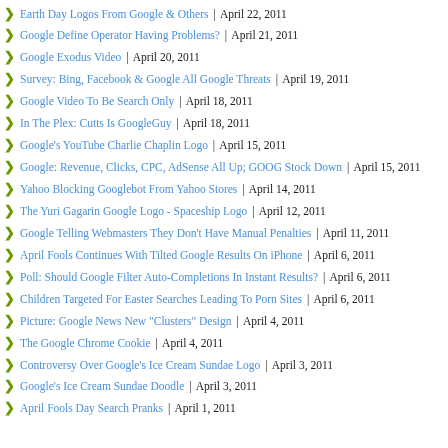Earth Day Logos From Google & Others | April 22, 2011
Google Define Operator Having Problems? | April 21, 2011
Google Exodus Video | April 20, 2011
Survey: Bing, Facebook & Google All Google Threats | April 19, 2011
Google Video To Be Search Only | April 18, 2011
In The Plex: Cutts Is GoogleGuy | April 18, 2011
Google's YouTube Charlie Chaplin Logo | April 15, 2011
Google: Revenue, Clicks, CPC, AdSense All Up; GOOG Stock Down | April 15, 2011
Yahoo Blocking Googlebot From Yahoo Stores | April 14, 2011
The Yuri Gagarin Google Logo - Spaceship Logo | April 12, 2011
Google Telling Webmasters They Don't Have Manual Penalties | April 11, 2011
April Fools Continues With Tilted Google Results On iPhone | April 6, 2011
Poll: Should Google Filter Auto-Completions In Instant Results? | April 6, 2011
Children Targeted For Easter Searches Leading To Porn Sites | April 6, 2011
Picture: Google News New "Clusters" Design | April 4, 2011
The Google Chrome Cookie | April 4, 2011
Controversy Over Google's Ice Cream Sundae Logo | April 3, 2011
Google's Ice Cream Sundae Doodle | April 3, 2011
April Fools Day Search Pranks | April 1, 2011